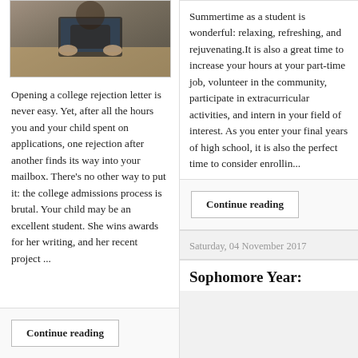[Figure (photo): Person sitting at a desk using a laptop, photo shown partially at top of left column]
Opening a college rejection letter is never easy. Yet, after all the hours you and your child spent on applications, one rejection after another finds its way into your mailbox. There's no other way to put it: the college admissions process is brutal. Your child may be an excellent student. She wins awards for her writing, and her recent project ...
Continue reading
Summertime as a student is wonderful: relaxing, refreshing, and rejuvenating.It is also a great time to increase your hours at your part-time job, volunteer in the community, participate in extracurricular activities, and intern in your field of interest. As you enter your final years of high school, it is also the perfect time to consider enrollin...
Continue reading
Saturday, 04 November 2017
Sophomore Year: